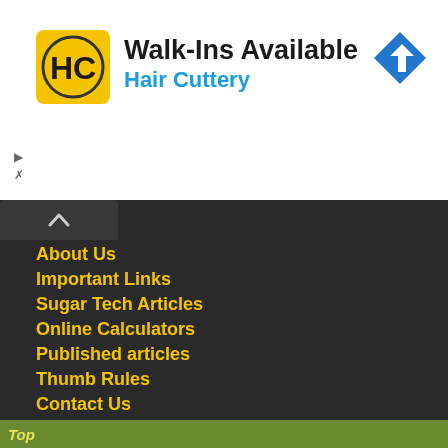[Figure (logo): Hair Cuttery advertisement banner with HC logo, 'Walk-Ins Available' headline, 'Hair Cuttery' subtitle in blue, and a blue navigation arrow icon]
About Us
Important Links
Sugar Tech Articles
Online Calculators
Published articles
Thumb Rules
Contact Us
Copyright © sugarprocesstech 2022 @ All rights reserved | Designed & Developed by SivaRamaKrishna Alluri.
Top